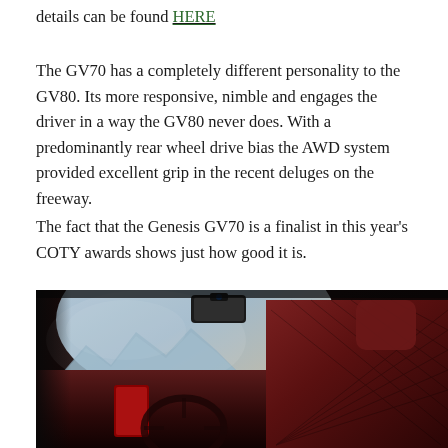details can be found HERE
The GV70 has a completely different personality to the GV80. Its more responsive, nimble and engages the driver in a way the GV80 never does. With a predominantly rear wheel drive bias the AWD system provided excellent grip in the recent deluges on the freeway.
The fact that the Genesis GV70 is a finalist in this year's COTY awards shows just how good it is.
[Figure (photo): Interior of a Genesis GV70 showing red leather seats with diamond stitching pattern, the dashboard, steering wheel, and a view through the windshield of a landscape with mountains and sky at dusk.]